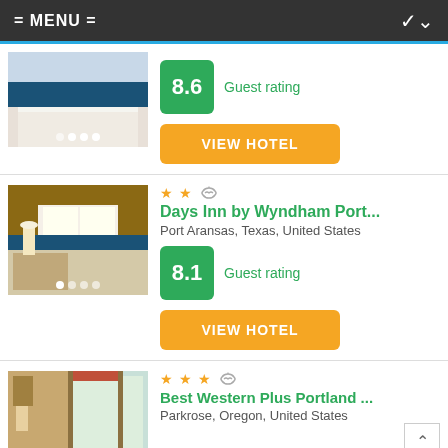= MENU =
[Figure (photo): Hotel room with bed and blue runner, partially visible — top of listing card]
Guest rating
8.6
VIEW HOTEL
[Figure (photo): Hotel room with bed, lamp, and sofa — Days Inn by Wyndham]
Days Inn by Wyndham Port...
Port Aransas, Texas, United States
Guest rating
8.1
VIEW HOTEL
[Figure (photo): Hotel room with window and curtains — Best Western Plus Portland]
Best Western Plus Portland ...
Parkrose, Oregon, United States